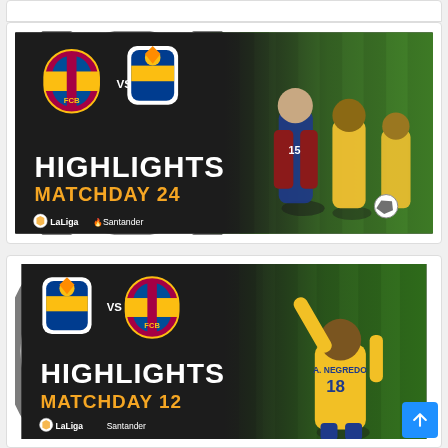[Figure (photo): LaLiga Santander highlights thumbnail for FC Barcelona vs Cadiz, Matchday 24. Dark background with team crests, 'HIGHLIGHTS' in white bold text, 'MATCHDAY 24' in gold text, LaLiga Santander logo, and action photo of players on green pitch.]
[Figure (photo): LaLiga Santander highlights thumbnail for Cadiz vs FC Barcelona, Matchday 12. Dark background with team crests, 'HIGHLIGHTS' in white bold text, 'MATCHDAY 12' in gold text, LaLiga Santander logo, and player with number 18 (A. Negredo) celebrating.]